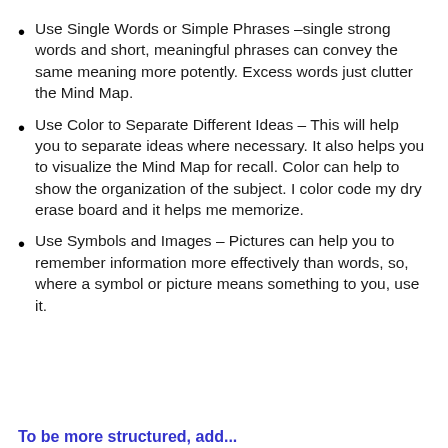Use Single Words or Simple Phrases –single strong words and short, meaningful phrases can convey the same meaning more potently. Excess words just clutter the Mind Map.
Use Color to Separate Different Ideas – This will help you to separate ideas where necessary. It also helps you to visualize the Mind Map for recall. Color can help to show the organization of the subject. I color code my dry erase board and it helps me memorize.
Use Symbols and Images – Pictures can help you to remember information more effectively than words, so, where a symbol or picture means something to you, use it.
To be more structured, add...